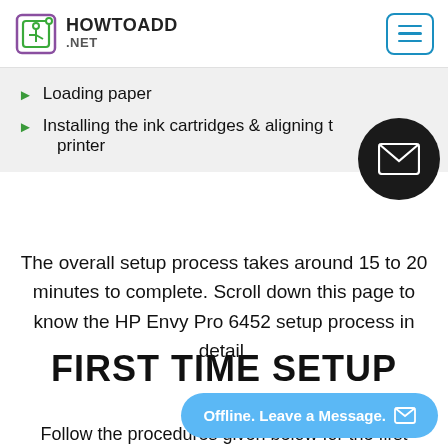HOWTOADD .NET
Loading paper
Installing the ink cartridges & aligning the printer
The overall setup process takes around 15 to 20 minutes to complete. Scroll down this page to know the HP Envy Pro 6452 setup process in detail.
FIRST TIME SETUP GU…
Follow the procedures given below for the first